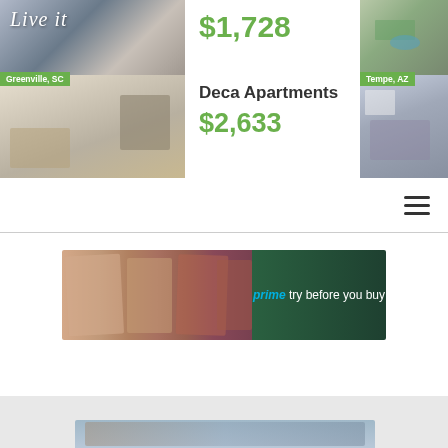[Figure (photo): Apartment listing collage: left side shows two photos of apartment interiors in Greenville SC, center shows pricing for two listings including Deca Apartments, right side shows aerial and interior photos for Tempe AZ listing]
$1,728
Greenville, SC
Deca Apartments
$2,633
Tempe, AZ
[Figure (screenshot): Navigation bar with hamburger menu icon (three horizontal lines) on right side]
[Figure (photo): Amazon Prime 'try before you buy' advertisement banner showing folded clothing items on green background]
[Figure (photo): Partial view of a lifestyle/fashion photo at bottom of page]